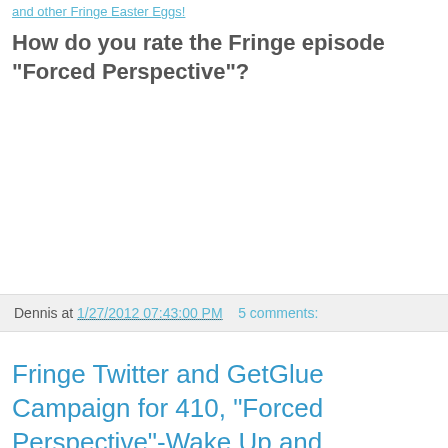and other Fringe Easter Eggs!
How do you rate the Fringe episode "Forced Perspective"?
Dennis at 1/27/2012 07:43:00 PM    5 comments:
Fringe Twitter and GetGlue Campaign for 410, "Forced Perspective"-Wake Up and ObserveItLive!